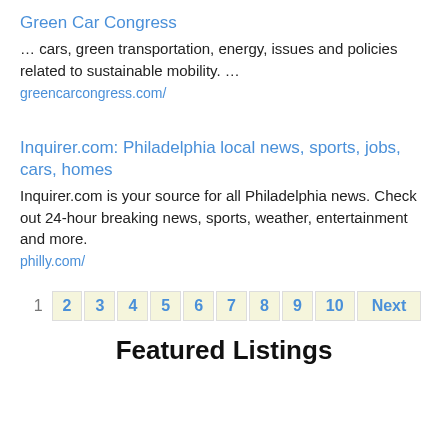Green Car Congress
… cars, green transportation, energy, issues and policies related to sustainable mobility. …
greencarcongress.com/
Inquirer.com: Philadelphia local news, sports, jobs, cars, homes
Inquirer.com is your source for all Philadelphia news. Check out 24-hour breaking news, sports, weather, entertainment and more.
philly.com/
1 2 3 4 5 6 7 8 9 10 Next
Featured Listings